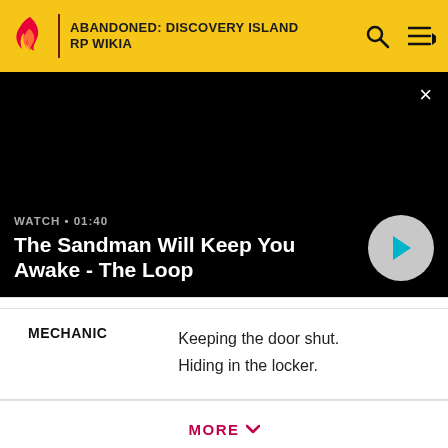ABANDONED: DISCOVERY ISLAND RP WIKIA
[Figure (screenshot): Black video player area with close button (×) in top right corner]
WATCH • 01:40
The Sandman Will Keep You Awake - The Loop
|  |  |
| --- | --- |
| MECHANIC | Keeping the door shut.
Hiding in the locker. |
MORE ∨